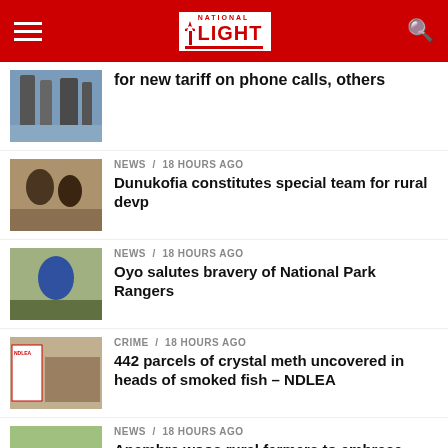National Light
for new tariff on phone calls, others
NEWS / 18 hours ago
Dunukofia constitutes special team for rural devp
NEWS / 18 hours ago
Oyo salutes bravery of National Park Rangers
CRIME / 18 hours ago
442 parcels of crystal meth uncovered in heads of smoked fish – NDLEA
NEWS / 18 hours ago
Anambra woos rural farmers to embrace regenerative agric